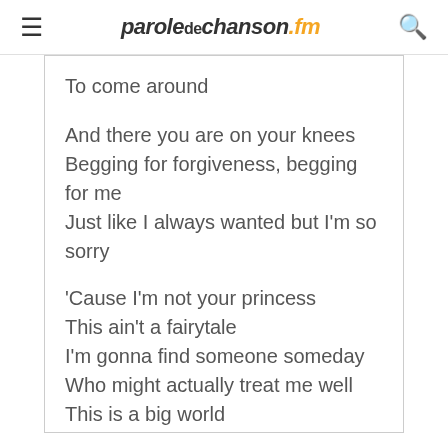paroledechanson.fm
To come around

And there you are on your knees
Begging for forgiveness, begging for me
Just like I always wanted but I'm so sorry

'Cause I'm not your princess
This ain't a fairytale
I'm gonna find someone someday
Who might actually treat me well
This is a big world
That was a small town
There in my rearview mirror
Disappearing now